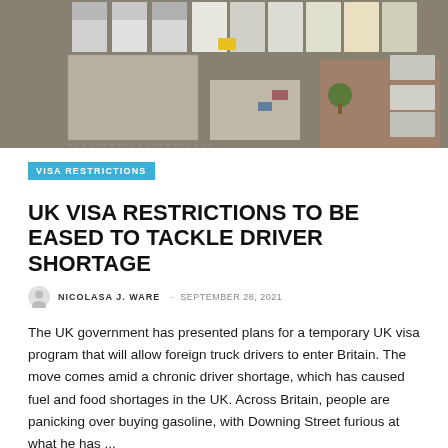[Figure (photo): Aerial view of a truck depot showing multiple semi-trucks and trailers parked in rows, with warehouses and a small tree visible]
VISA RESTRICTIONS
UK VISA RESTRICTIONS TO BE EASED TO TACKLE DRIVER SHORTAGE
NICOLASA J. WARE · SEPTEMBER 28, 2021
The UK government has presented plans for a temporary UK visa program that will allow foreign truck drivers to enter Britain. The move comes amid a chronic driver shortage, which has caused fuel and food shortages in the UK. Across Britain, people are panicking over buying gasoline, with Downing Street furious at what he has ...